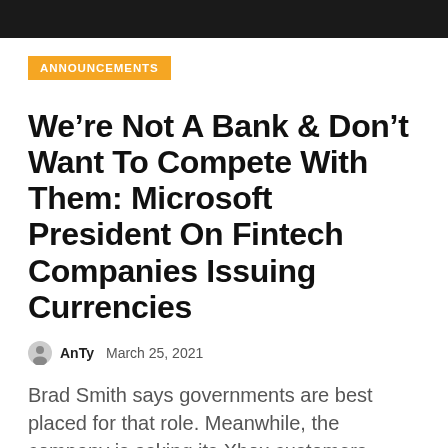ANNOUNCEMENTS
We're Not A Bank & Don't Want To Compete With Them: Microsoft President On Fintech Companies Issuing Currencies
AnTy   March 25, 2021
Brad Smith says governments are best placed for that role. Meanwhile, the company is asking its Xbox customers about Bitcoin payments and other...